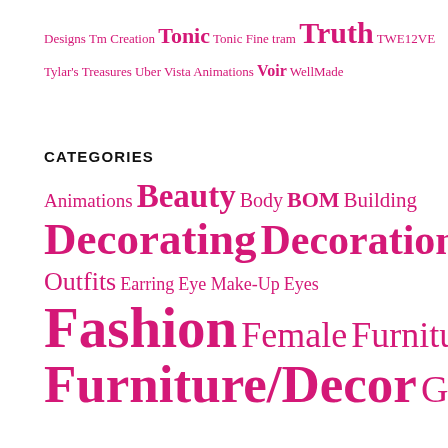Designs Tm Creation Tonic Tonic Fine tram Truth TWE12VE Tylar's Treasures Uber Vista Animations Voir WellMade
CATEGORIES
Animations Beauty Body BOM Building Decorating Decoration Dress Outfits Earring Eye Make-Up Eyes Fashion Female Furniture Furniture/Decor Garden Home